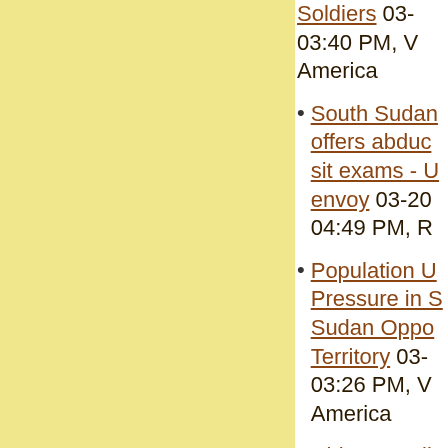Soldiers 03-... 03:40 PM, V... America
South Sudan... offers abduc... sit exams - U... envoy 03-20... 04:49 PM, R...
Population U... Pressure in S... Sudan Oppo... Territory 03-... 03:26 PM, V... America
China suppli... South Sudan... weapons to...